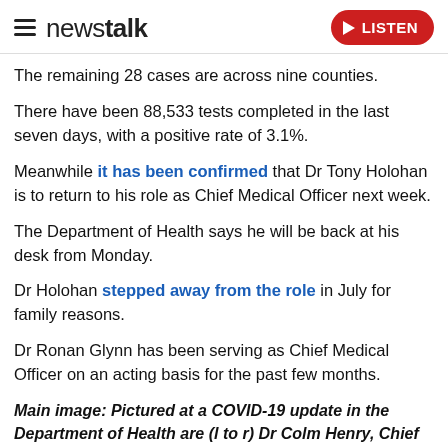newstalk — LISTEN
The remaining 28 cases are across nine counties.
There have been 88,533 tests completed in the last seven days, with a positive rate of 3.1%.
Meanwhile it has been confirmed that Dr Tony Holohan is to return to his role as Chief Medical Officer next week.
The Department of Health says he will be back at his desk from Monday.
Dr Holohan stepped away from the role in July for family reasons.
Dr Ronan Glynn has been serving as Chief Medical Officer on an acting basis for the past few months.
Main image: Pictured at a COVID-19 update in the Department of Health are (l to r) Dr Colm Henry, Chief